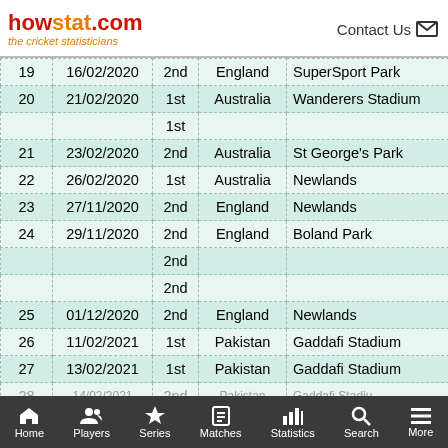howstat.com the cricket statisticians | Contact Us
| # | Date | Inns | Opponent | Venue |
| --- | --- | --- | --- | --- |
| 19 | 16/02/2020 | 2nd | England | SuperSport Park |
| 20 | 21/02/2020 | 1st | Australia | Wanderers Stadium |
|  |  | 1st |  |  |
| 21 | 23/02/2020 | 2nd | Australia | St George's Park |
| 22 | 26/02/2020 | 1st | Australia | Newlands |
| 23 | 27/11/2020 | 2nd | England | Newlands |
| 24 | 29/11/2020 | 2nd | England | Boland Park |
|  |  | 2nd |  |  |
|  |  | 2nd |  |  |
| 25 | 01/12/2020 | 2nd | England | Newlands |
| 26 | 11/02/2021 | 1st | Pakistan | Gaddafi Stadium |
| 27 | 13/02/2021 | 1st | Pakistan | Gaddafi Stadium |
| 28 | 14/02/2021 | ... | Pakistan | Gaddafi Stadiu... |
Home | Players | Series | Matches | Statistics | Search | More